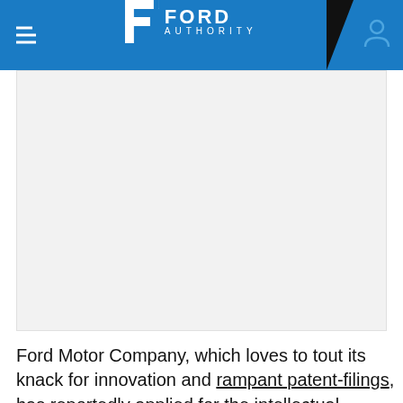Ford Authority
[Figure (photo): Article image placeholder — white/light gray rectangle representing a photo in the Ford Authority article]
Ford Motor Company, which loves to tout its knack for innovation and rampant patent-filings, has reportedly applied for the intellectual property rights to a